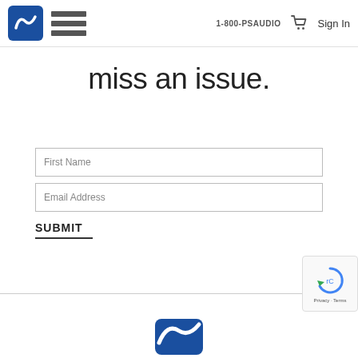1-800-PSAUDIO  Sign In
miss an issue.
First Name
Email Address
SUBMIT
[Figure (logo): Partial PS Audio logo at bottom of page]
[Figure (other): reCAPTCHA badge with Privacy - Terms text]